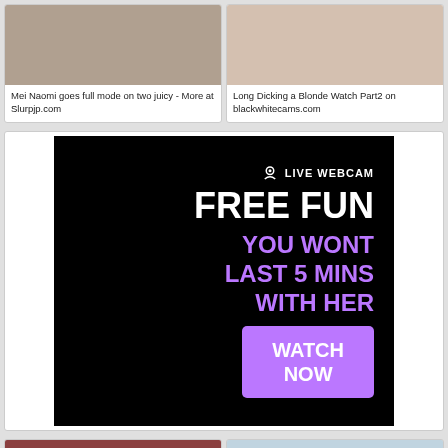[Figure (photo): Thumbnail image left top - person with dark hair]
Mei Naomi goes full mode on two juicy - More at Slurpjp.com
[Figure (photo): Thumbnail image right top - blonde person]
Long Dicking a Blonde Watch Part2 on blackwhitecams.com
[Figure (screenshot): Advertisement banner: LIVE WEBCAM - FREE FUN - YOU WONT LAST 5 MINS WITH HER - WATCH NOW button in purple]
[Figure (photo): Thumbnail bottom left - person with dark hair in red]
[Figure (photo): Thumbnail bottom right - two persons]